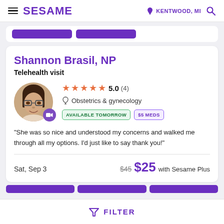SESAME — KENTWOOD, MI
Shannon Brasil, NP
Telehealth visit
★★★★★ 5.0 (4) — Obstetrics & gynecology — AVAILABLE TOMORROW — $5 MEDS
"She was so nice and understood my concerns and walked me through all my options. I'd just like to say thank you!"
Sat, Sep 3 — $45 $25 with Sesame Plus
FILTER